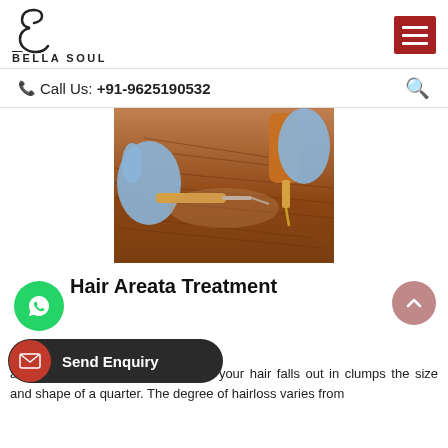BELLA SOUL — Call Us: +91-9625190532
[Figure (photo): Close-up photo of a medical professional in blue gloves injecting a treatment into a patient's scalp using a syringe and a golden needle device for hair treatment.]
Hair Areata Treatment
...an autoimmune condition in which your hair falls out in clumps the size and shape of a quarter. The degree of hairloss varies from